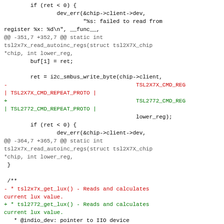Code diff showing changes in tsl2x7x driver, including i2c_smbus_write_byte call changes replacing TSL2X7X_CMD_REG with TSL2772_CMD_REG and tsl2x7x_get_lux with tsl2772_get_lux.